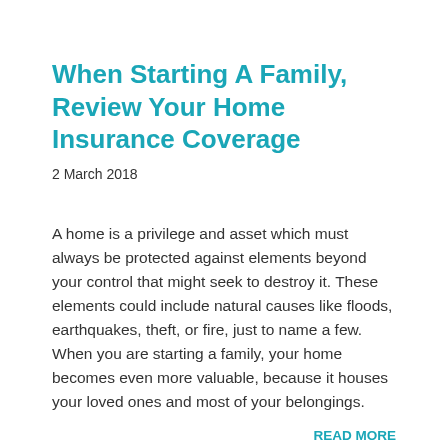When Starting A Family, Review Your Home Insurance Coverage
2 March 2018
A home is a privilege and asset which must always be protected against elements beyond your control that might seek to destroy it. These elements could include natural causes like floods, earthquakes, theft, or fire, just to name a few. When you are starting a family, your home becomes even more valuable, because it houses your loved ones and most of your belongings.
READ MORE